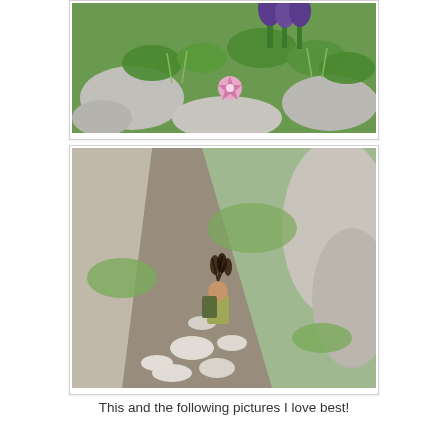[Figure (photo): Close-up photo of alpine wildflowers and green plants among rocks, featuring purple/violet flowers including a star-shaped pink flower in the center foreground]
[Figure (photo): Outdoor photo of a person wearing a feathered headdress climbing up a rocky mountain gully/couloir, surrounded by white limestone rocks and green grass patches]
This and the following pictures I love best!